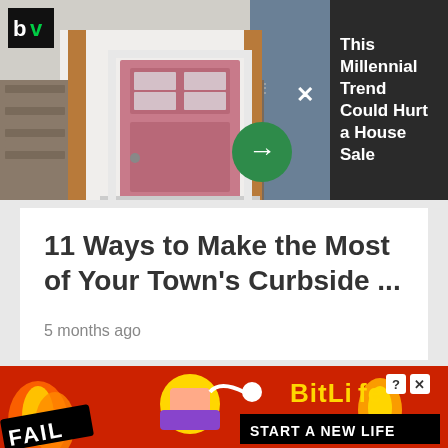[Figure (screenshot): Advertisement banner showing a house with pink front door. Left portion shows the house image with a green arrow button and close X button. Right dark panel shows ad text. BV logo in top-left corner.]
This Millennial Trend Could Hurt a House Sale
11 Ways to Make the Most of Your Town's Curbside ...
5 months ago
[Figure (screenshot): BitLife mobile game advertisement banner with red background, flame graphics, facepalm emoji, FAIL badge, BitLife logo in gold, and START A NEW LIFE button.]